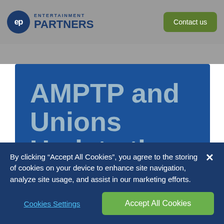Entertainment Partners | Contact us
AMPTP and Unions Update the Industry
By clicking “Accept All Cookies”, you agree to the storing of cookies on your device to enhance site navigation, analyze site usage, and assist in our marketing efforts.
Cookies Settings
Accept All Cookies